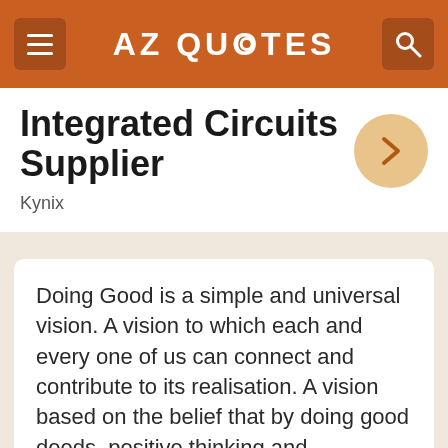AZ QUOTES
Integrated Circuits Supplier
Kynix
Doing Good is a simple and universal vision. A vision to which each and every one of us can connect and contribute to its realisation. A vision based on the belief that by doing good deeds, positive thinking and affirmative choice of words, feelings and actions, we can enhance goodness in the world.